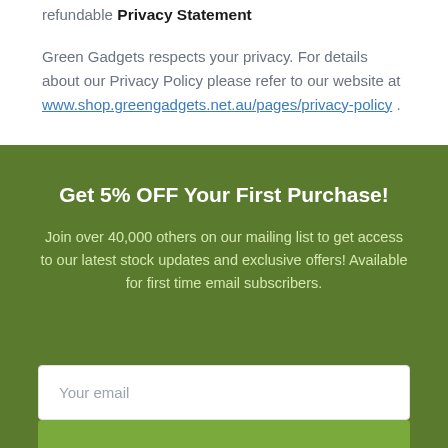refundable
Privacy Statement
Green Gadgets respects your privacy. For details about our Privacy Policy please refer to our website at www.shop.greengadgets.net.au/pages/privacy-policy .
Get 5% OFF Your First Purchase!
Join over 40,000 others on our mailing list to get access to our latest stock updates and exclusive offers! Available for first time email subscribers.
Your email